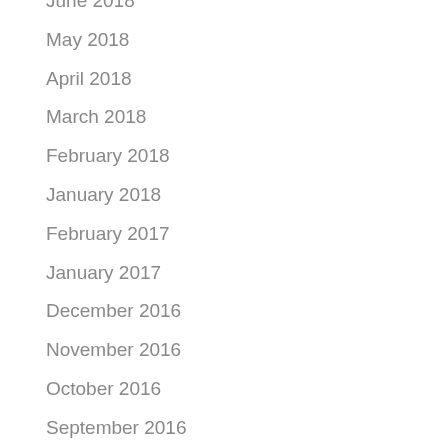June 2018
May 2018
April 2018
March 2018
February 2018
January 2018
February 2017
January 2017
December 2016
November 2016
October 2016
September 2016
August 2016
July 2016